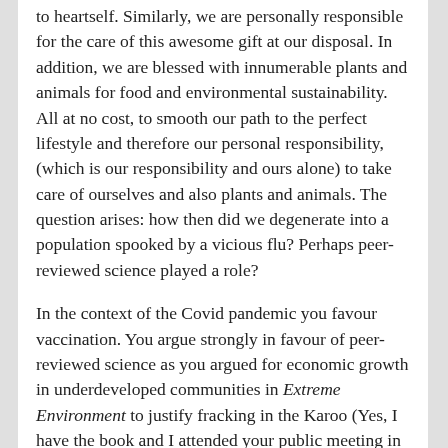to heartself. Similarly, we are personally responsible for the care of this awesome gift at our disposal. In addition, we are blessed with innumerable plants and animals for food and environmental sustainability. All at no cost, to smooth our path to the perfect lifestyle and therefore our personal responsibility, (which is our responsibility and ours alone) to take care of ourselves and also plants and animals. The question arises: how then did we degenerate into a population spooked by a vicious flu? Perhaps peer-reviewed science played a role?
In the context of the Covid pandemic you favour vaccination. You argue strongly in favour of peer-reviewed science as you argued for economic growth in underdeveloped communities in Extreme Environment to justify fracking in the Karoo (Yes, I have the book and I attended your public meeting in George where I met you). I am sure you are fully aware that peer reviewers